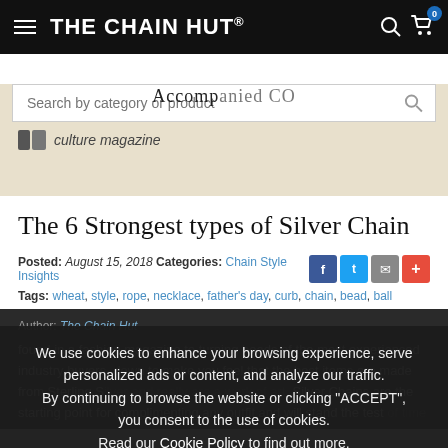THE CHAIN HUT®
Search by category or product
culture magazine
The 6 Strongest types of Silver Chain
Posted: August 15, 2018 Categories: Chain Style Insights
Tags: wheat, style, rope, necklace, father's day, curb, chain, bead, ball
Author: The Chain Hut
We use cookies to enhance your browsing experience, serve personalized ads or content, and analyze our traffic. By continuing to browse the website or clicking "ACCEPT", you consent to the use of cookies. Read our Cookie Policy to find out more.
ACCEPT
Silver Chains are the starting point for complimenting any outfit and will stand the test of time without cost the Earth. Our styles of chain choice have characteristics enough to make you feel that you're playing the lead role in a Charlie and the Choc Factory remake. Our styles...